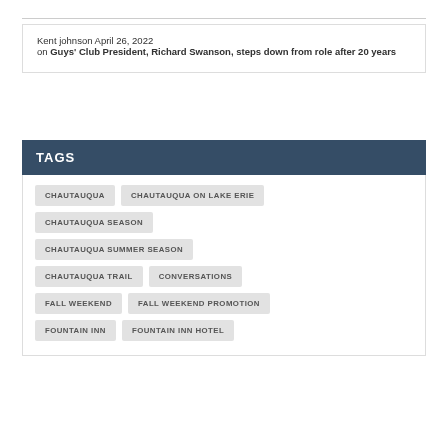Kent johnson April 26, 2022 on Guys' Club President, Richard Swanson, steps down from role after 20 years
TAGS
CHAUTAUQUA
CHAUTAUQUA ON LAKE ERIE
CHAUTAUQUA SEASON
CHAUTAUQUA SUMMER SEASON
CHAUTAUQUA TRAIL
CONVERSATIONS
FALL WEEKEND
FALL WEEKEND PROMOTION
FOUNTAIN INN
FOUNTAIN INN HOTEL